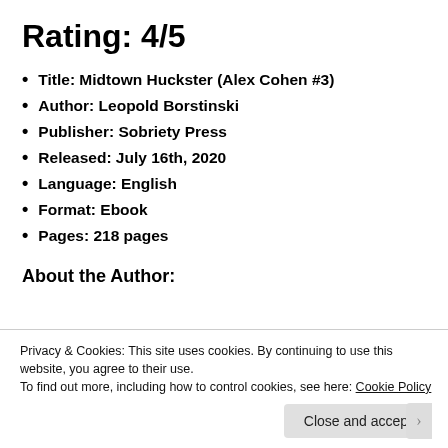Rating: 4/5
Title: Midtown Huckster (Alex Cohen #3)
Author: Leopold Borstinski
Publisher: Sobriety Press
Released: July 16th, 2020
Language: English
Format: Ebook
Pages: 218 pages
About the Author:
[Figure (photo): Partial photo of Leopold Borstinski with dark border]
Leopold Borstinski is an...
Privacy & Cookies: This site uses cookies. By continuing to use this website, you agree to their use.
To find out more, including how to control cookies, see here: Cookie Policy
Close and accept